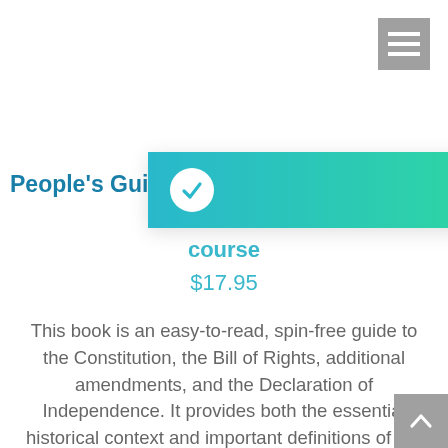[Figure (screenshot): Top-right hamburger/navigation menu button, grey square with three white horizontal lines]
[Figure (screenshot): Teal-to-green gradient horizontal banner with a white checkmark circle on the left side]
People's Guide t…
course
$17.95
This book is an easy-to-read, spin-free guide to the Constitution, the Bill of Rights, additional amendments, and the Declaration of Independence. It provides both the essential historical context and important definitions of the language used at the time. Includes downloadable study guide. American Handbook
[Figure (screenshot): Bottom-right scroll-up button, grey square with white upward arrow]